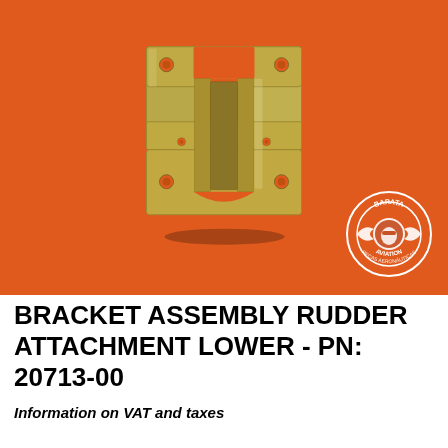[Figure (photo): Metal bracket assembly rudder attachment lower part (PN: 20713-00), photographed on an orange background. The bracket is a yellowish zinc-plated metal part with an H-shape structure featuring mounting holes and a channel in the middle. A circular logo for Barata Aviation (Peças Aeronáuticas) is visible in the bottom-right corner of the photo.]
BRACKET ASSEMBLY RUDDER ATTACHMENT LOWER - PN: 20713-00
Information on VAT and taxes